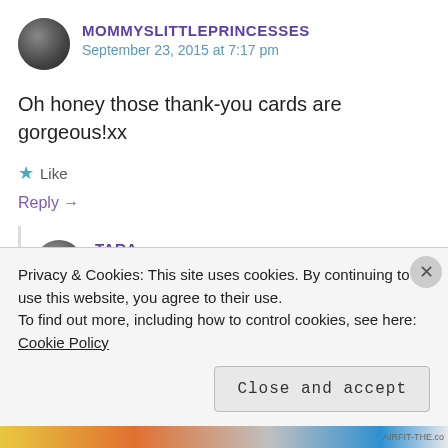MOMMYSLITTLEPRINCESSES
September 23, 2015 at 7:17 pm
Oh honey those thank-you cards are gorgeous!xx
Like
Reply →
TARA
Privacy & Cookies: This site uses cookies. By continuing to use this website, you agree to their use.
To find out more, including how to control cookies, see here: Cookie Policy
Close and accept